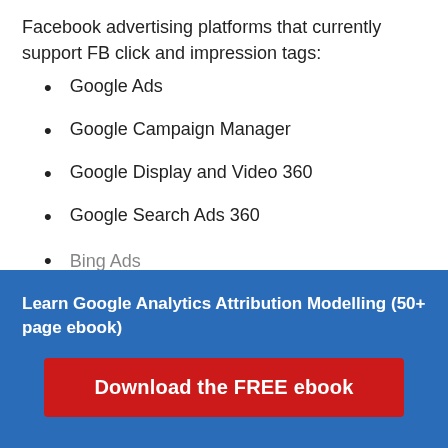Facebook advertising platforms that currently support FB click and impression tags:
Google Ads
Google Campaign Manager
Google Display and Video 360
Google Search Ads 360
Bing Ads
Learn Google Analytics Attribution Modelling (50+ page ebook)
Download the FREE ebook